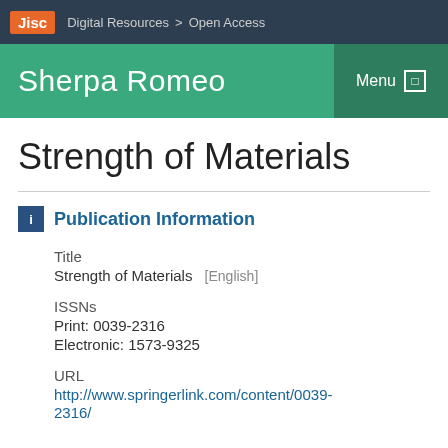Jisc  Digital Resources > Open Access
Sherpa Romeo
Strength of Materials
Publication Information
Title
Strength of Materials  [English]
ISSNs
Print: 0039-2316
Electronic: 1573-9325
URL
http://www.springerlink.com/content/0039-2316/